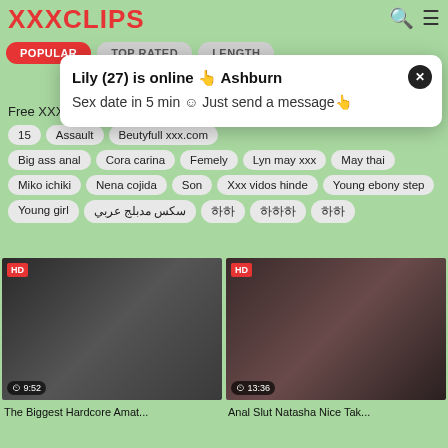XXXCLIPS
POPULAR | TOP RATED | LENGTH
Free XXX Tube Videos: 15  Assault  Beutyfull xxx.com  Big ass anal  Cora carina  Femely  Lyn may xxx  May thai  Miko ichiki  Nena cojida  Son  Xxx vidos hinde  Young ebony step  Young girl  سكس مدبلج عربي  하하하  하하하하  하하
[Figure (screenshot): Popup notification: Lily (27) is online in Ashburn. Sex date in 5 min. Just send a message.]
[Figure (photo): HD video thumbnail - The Biggest Hardcore Amat... duration 9:52]
[Figure (photo): HD video thumbnail - Anal Slut Natasha Nice Tak... duration 13:36]
The Biggest Hardcore Amat...
Anal Slut Natasha Nice Tak...